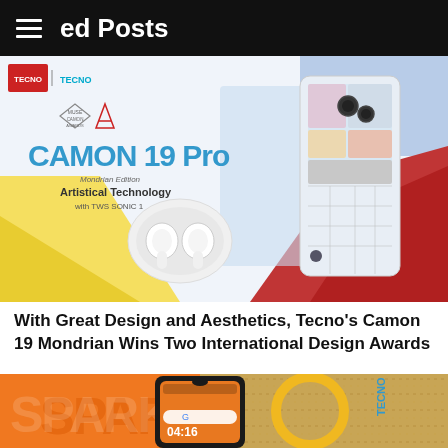ed Posts
[Figure (photo): Tecno Camon 19 Pro Mondrian Edition product promotional image showing the phone with colorful Mondrian-style back design, TWS earbuds in case, on colorful geometric background. Tecno logo and MUSE CAMON AWARDS badge visible.]
With Great Design and Aesthetics, Tecno's Camon 19 Mondrian Wins Two International Design Awards
[Figure (photo): Tecno Spark smartphone placed in front of orange SPARK product box with Tecno branding, displayed on a burlap/jute textured surface. Clock showing 04:16.]